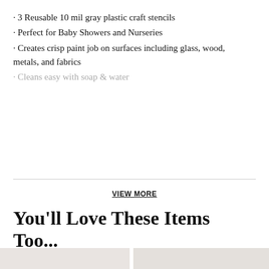· 3 Reusable 10 mil gray plastic craft stencils
· Perfect for Baby Showers and Nurseries
· Creates crisp paint job on surfaces including glass, wood, metals, and fabrics
· Cleans easy with soap & water
VIEW MORE
You'll Love These Items Too...
[Figure (photo): Product image on left: canvas pouch with 'You Rule' text, surrounded by colored pencils and craft supplies on a light background]
[Figure (photo): Product image on right: canvas tote bag with 'Apple of my' text tied with black and white striped ribbon, on a rustic wood background]